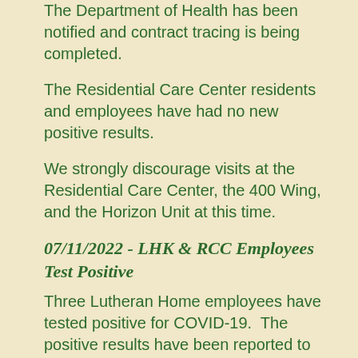The Department of Health has been notified and contract tracing is being completed.
The Residential Care Center residents and employees have had no new positive results.
We strongly discourage visits at the Residential Care Center, the 400 Wing, and the Horizon Unit at this time.
07/11/2022 - LHK & RCC Employees Test Positive
Three Lutheran Home employees have tested positive for COVID-19. The positive results have been reported to the Department of Health and contract tracing is being completed.